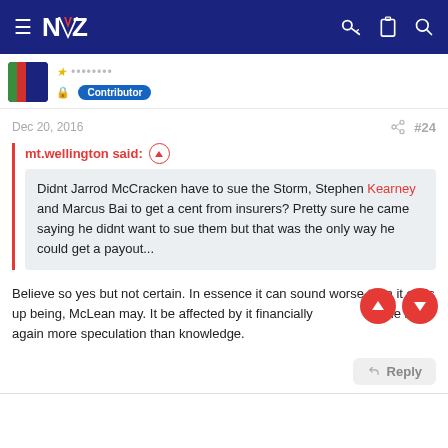MV NZ forum navigation bar
Contributor
Dec 20, 2016  #24
mt.wellington said:
Didnt Jarrod McCracken have to sue the Storm, Stephen Kearney and Marcus Bai to get a cent from insurers? Pretty sure he came saying he didnt want to sue them but that was the only way he could get a payout...
Believe so yes but not certain. In essence it can sound worse than it ends up being, McLean may. It be affected by it financially the it again more speculation than knowledge.
Reply